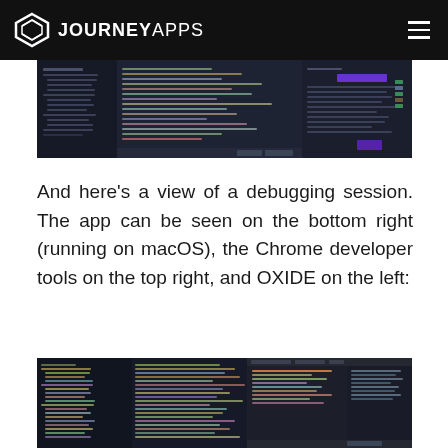JOURNEYAPPS
[Figure (screenshot): Screenshot of a dark-themed IDE/debugging environment showing code editor panels with a dark background]
And here’s a view of a debugging session. The app can be seen on the bottom right (running on macOS), the Chrome developer tools on the top right, and OXIDE on the left:
[Figure (screenshot): Screenshot of a debugging session showing OXIDE IDE on the left, Chrome developer tools on the top right, and the macOS app on the bottom right]